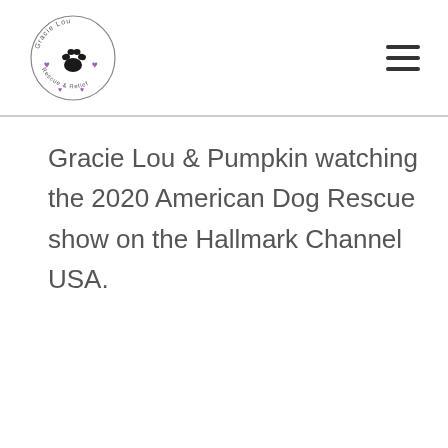Gracie Lou Rescue & Relief [logo]
Gracie Lou & Pumpkin watching the 2020 American Dog Rescue show on the Hallmark Channel USA.